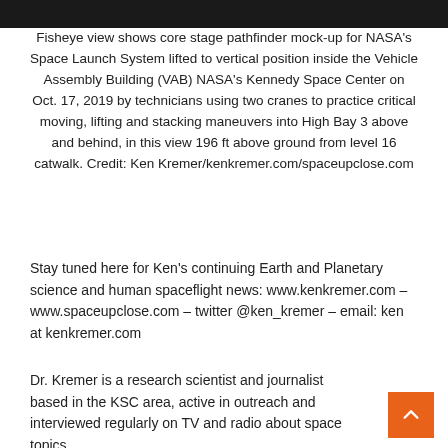[Figure (photo): Top portion of a fisheye photo showing NASA core stage pathfinder mock-up inside the Vehicle Assembly Building — dark image strip visible at top]
Fisheye view shows core stage pathfinder mock-up for NASA's Space Launch System lifted to vertical position inside the Vehicle Assembly Building (VAB) NASA's Kennedy Space Center on Oct. 17, 2019 by technicians using two cranes to practice critical moving, lifting and stacking maneuvers into High Bay 3 above and behind, in this view 196 ft above ground from level 16 catwalk. Credit: Ken Kremer/kenkremer.com/spaceupclose.com
Stay tuned here for Ken's continuing Earth and Planetary science and human spaceflight news: www.kenkremer.com –www.spaceupclose.com – twitter @ken_kremer – email: ken at kenkremer.com
Dr. Kremer is a research scientist and journalist based in the KSC area, active in outreach and interviewed regularly on TV and radio about space topics.